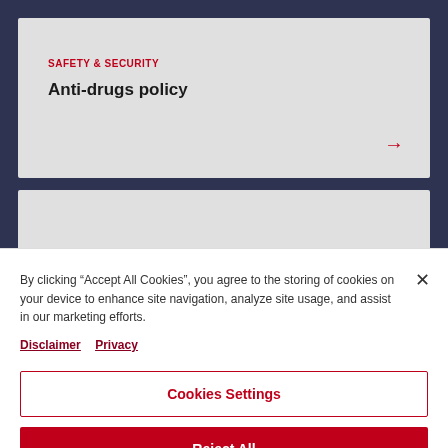SAFETY & SECURITY
Anti-drugs policy
By clicking “Accept All Cookies”, you agree to the storing of cookies on your device to enhance site navigation, analyze site usage, and assist in our marketing efforts.
Disclaimer  Privacy
Cookies Settings
Reject All